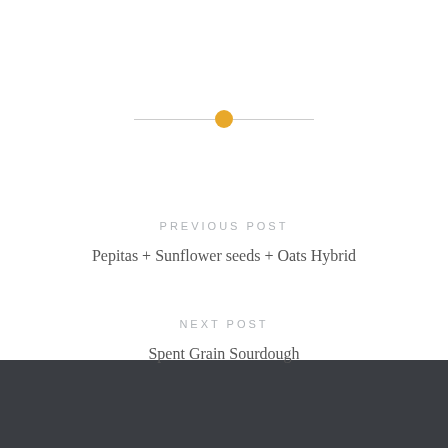[Figure (other): Decorative horizontal divider with a golden/amber circle in the center and thin gray lines extending to each side]
PREVIOUS POST
Pepitas + Sunflower seeds + Oats Hybrid
NEXT POST
Spent Grain Sourdough